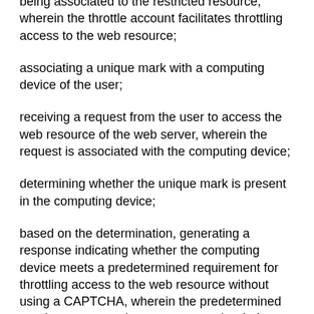being associated to the restricted resource, wherein the throttle account facilitates throttling access to the web resource;
associating a unique mark with a computing device of the user;
receiving a request from the user to access the web resource of the web server, wherein the request is associated with the computing device;
determining whether the unique mark is present in the computing device;
based on the determination, generating a response indicating whether the computing device meets a predetermined requirement for throttling access to the web resource without using a CAPTCHA, wherein the predetermined requirement comprises a count number being less than a predetermined number, and wherein the count number counts a number of accesses to the web resource that originated from the computing device; and
sending the response to the web server providing the web resource, thereby facilitating access throttling to the web